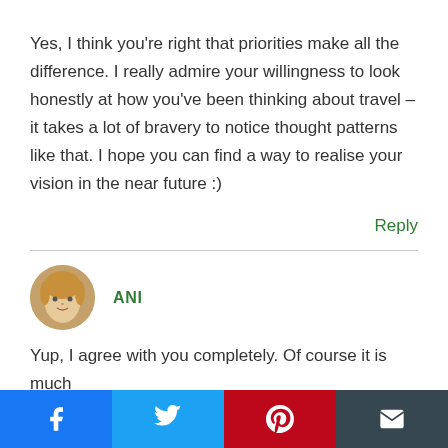Yes, I think you're right that priorities make all the difference. I really admire your willingness to look honestly at how you've been thinking about travel – it takes a lot of bravery to notice thought patterns like that. I hope you can find a way to realise your vision in the near future :)
Reply
ANI
[Figure (illustration): Circular avatar photo of a woman with blonde hair]
Yup, I agree with you completely. Of course it is much